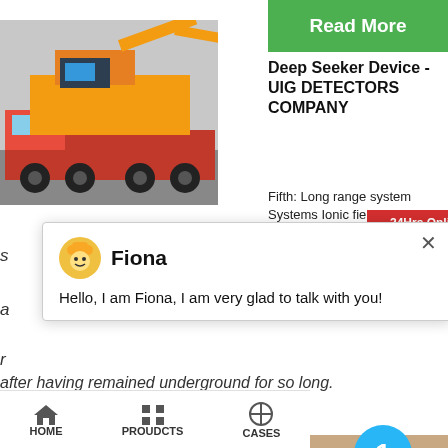[Figure (photo): Yellow mining/construction machine on a red truck, road transport]
[Figure (screenshot): Green Read More button]
Deep Seeker Device - UIG DETECTORS COMPANY
Fifth: Long range system Systems Ionic fields search...
[Figure (screenshot): Red 24Hrs Online partial overlay bar]
s
a
r
after having remained underground for so long.
[Figure (screenshot): Chat popup with Fiona avatar, name Fiona, message: Hello, I am Fiona, I am very glad to talk with you!]
[Figure (photo): Construction crane/machine against blue sky]
[Figure (screenshot): Green Read More button (partial)]
Best
[Figure (photo): Woman on phone, right side panel]
[Figure (screenshot): Blue circle notification badge with number 1]
Need qu... & suggestion?
Chat Now
Enquiry
limingjilmofen
HOME   PROUDCTS   CASES